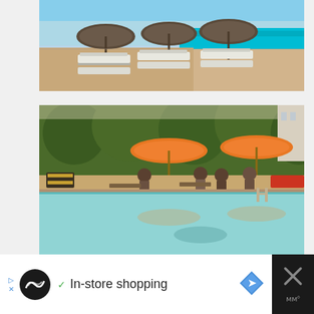[Figure (photo): Beach scene with white lounge chairs and wicker/rattan umbrellas on sandy beach with turquoise ocean in background and blue sky]
[Figure (photo): Hotel pool area with orange umbrellas, striped lounge chairs, people socializing, surrounded by palm trees and tropical foliage, with calm reflective pool water in foreground]
In-store shopping